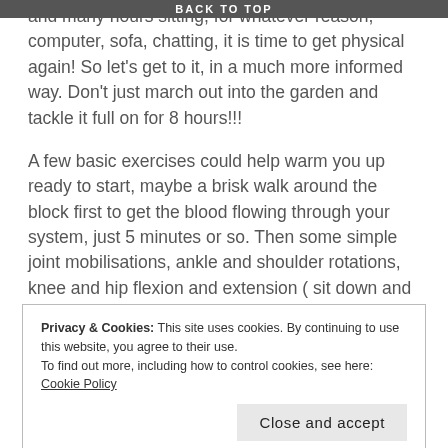BACK TO TOP
and many hours sitting, for whatever reason, computer, sofa, chatting, it is time to get physical again! So let's get to it, in a much more informed way. Don't just march out into the garden and tackle it full on for 8 hours!!!
A few basic exercises could help warm you up ready to start, maybe a brisk walk around the block first to get the blood flowing through your system, just 5 minutes or so. Then some simple joint mobilisations, ankle and shoulder rotations, knee and hip flexion and extension ( sit down and stand up a few times) gentle looking from side to side with your head to warm up the neck and then simple side bends, keeping the body straight, with soft knees.
Privacy & Cookies: This site uses cookies. By continuing to use this website, you agree to their use.
To find out more, including how to control cookies, see here: Cookie Policy
Close and accept
that your body isn't being misused and if you feel